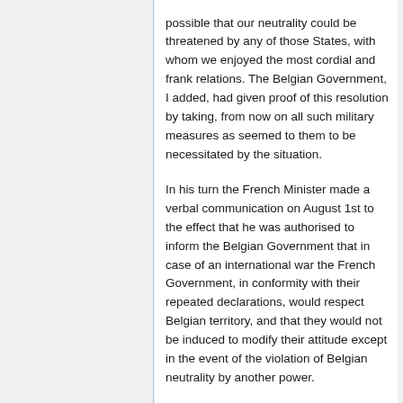possible that our neutrality could be threatened by any of those States, with whom we enjoyed the most cordial and frank relations. The Belgian Government, I added, had given proof of this resolution by taking, from now on all such military measures as seemed to them to be necessitated by the situation.
In his turn the French Minister made a verbal communication on August 1st to the effect that he was authorised to inform the Belgian Government that in case of an international war the French Government, in conformity with their repeated declarations, would respect Belgian territory, and that they would not be induced to modify their attitude except in the event of the violation of Belgian neutrality by another power.